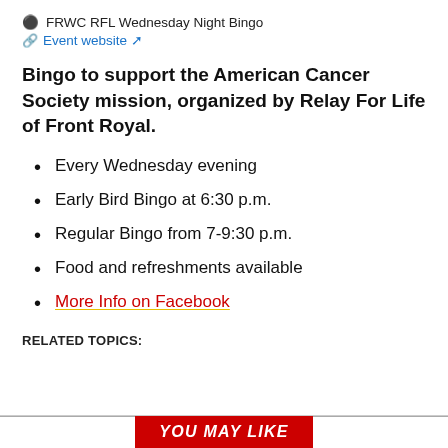FRWC RFL Wednesday Night Bingo
Event website
Bingo to support the American Cancer Society mission, organized by Relay For Life of Front Royal.
Every Wednesday evening
Early Bird Bingo at 6:30 p.m.
Regular Bingo from 7-9:30 p.m.
Food and refreshments available
More Info on Facebook
RELATED TOPICS:
YOU MAY LIKE